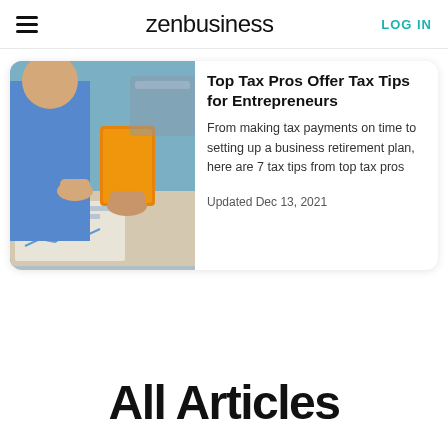zenbusiness | LOG IN
[Figure (photo): Two people at a desk with financial documents, one holding an orange book/folder, discussing business tax matters]
Top Tax Pros Offer Tax Tips for Entrepreneurs
From making tax payments on time to setting up a business retirement plan, here are 7 tax tips from top tax pros
Updated Dec 13, 2021
All Articles